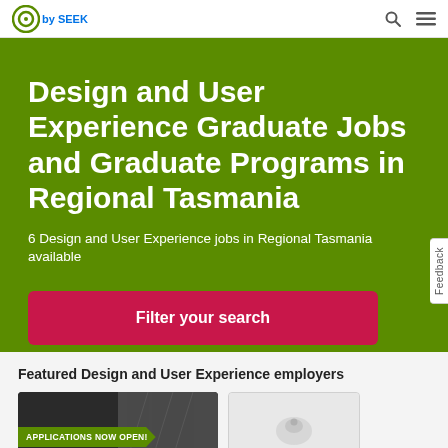GradConnection by SEEK
Design and User Experience Graduate Jobs and Graduate Programs in Regional Tasmania
6 Design and User Experience jobs in Regional Tasmania available
Filter your search
Featured Design and User Experience employers
[Figure (photo): Employer card with dark background and 'APPLICATIONS NOW OPEN!' green banner with arrow, photo of workspace in background]
[Figure (photo): Second employer card with light grey background, partially visible]